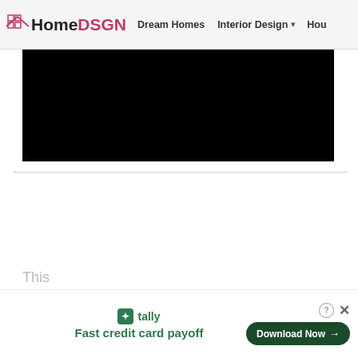HomeDSGN | Dream Homes | Interior Design | Hou
[Figure (photo): Black rectangular image area, content not visible]
[Figure (screenshot): White content area below horizontal rule — blank/loading]
This
[Figure (infographic): Tally ad banner: Fast credit card payoff — Download Now button]